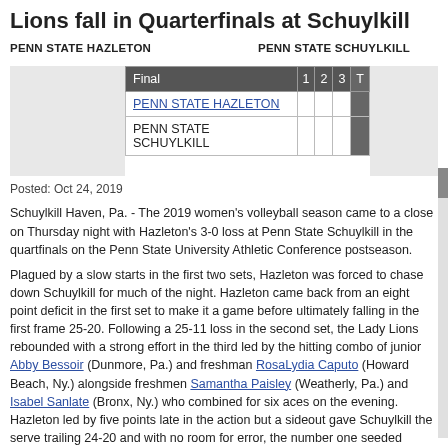Lions fall in Quarterfinals at Schuylkill
| Final | 1 | 2 | 3 | T |
| --- | --- | --- | --- | --- |
| PENN STATE HAZLETON |  |  |  |  |
| PENN STATE SCHUYLKILL |  |  |  |  |
Posted: Oct 24, 2019
Schuylkill Haven, Pa. - The 2019 women’s volleyball season came to a close on Thursday night with Hazleton’s 3-0 loss at Penn State Schuylkill in the quartfinals on the Penn State University Athletic Conference postseason.
Plagued by a slow starts in the first two sets, Hazleton was forced to chase down Schuylkill for much of the night. Hazleton came back from an eight point deficit in the first set to make it a game before ultimately falling in the first frame 25-20. Following a 25-11 loss in the second set, the Lady Lions rebounded with a strong effort in the third led by the hitting combo of junior Abby Bessoir (Dunmore, Pa.) and freshman RosaLydia Caputo (Howard Beach, Ny.) alongside freshmen Samantha Paisley (Weatherly, Pa.) and Isabel Sanlate (Bronx, Ny.) who combined for six aces on the evening. Hazleton led by five points late in the action but a sideout gave Schuylkill the serve trailing 24-20 and with no room for error, the number one seeded Schuylkill squad reeled off six straight points to win by a narrow margin, advancing to next week’s semifinals at University Park.